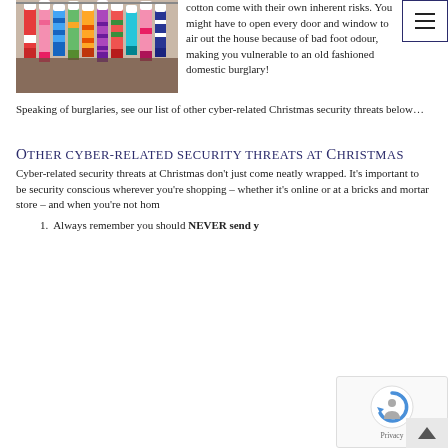[Figure (photo): Photo of colorful children's socks hanging on a rack or line, showing various patterns and colors including striped socks, patterned socks, and character socks.]
cotton come with their own inherent risks. You might have to open every door and window to air out the house because of bad foot odour, making you vulnerable to an old fashioned domestic burglary!
Speaking of burglaries, see our list of other cyber-related Christmas security threats below…
Other cyber-related security threats at Christmas
Cyber-related security threats at Christmas don't just come neatly wrapped. It's important to be security conscious wherever you're shopping – whether it's online or at a bricks and mortar store – and when you're not home…
Always remember you should NEVER send yo…